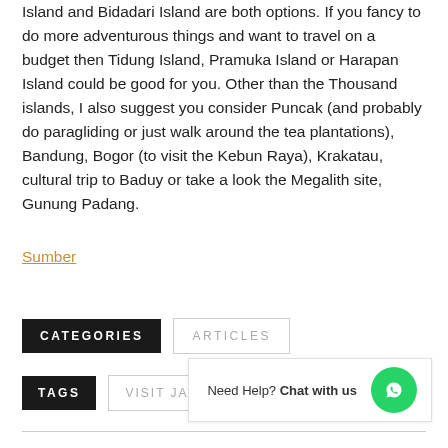Island and Bidadari Island are both options. If you fancy to do more adventurous things and want to travel on a budget then Tidung Island, Pramuka Island or Harapan Island could be good for you. Other than the Thousand islands, I also suggest you consider Puncak (and probably do paragliding or just walk around the tea plantations), Bandung, Bogor (to visit the Kebun Raya), Krakatau, cultural trip to Baduy or take a look the Megalith site, Gunung Padang.
Sumber
CATEGORIES
ARTICLES
TAGS
VISIT JAKARTA
Need Help? Chat with us